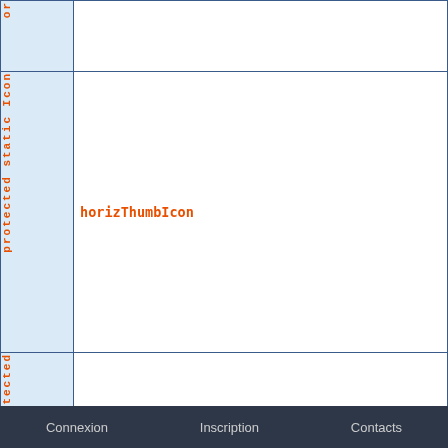| Modifier | Name |
| --- | --- |
| or |  |
| protected static Icon | horizThumbIcon |
| protected | SLIDER_FILL |
Connexion   Inscription   Contacts